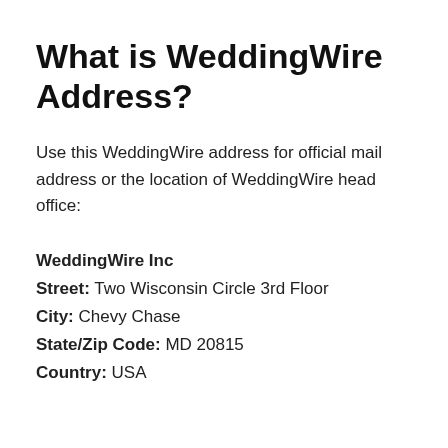What is WeddingWire Address?
Use this WeddingWire address for official mail address or the location of WeddingWire head office:
WeddingWire Inc
Street: Two Wisconsin Circle 3rd Floor
City: Chevy Chase
State/Zip Code: MD 20815
Country: USA